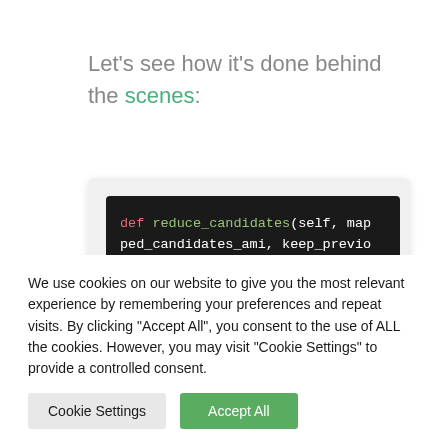Let's see how it's done behind the scenes:
[Figure (screenshot): Code editor screenshot showing Python function definition: def reduce_candidates(self, mapped_candidates_ami, keep_previous=0): with docstring starting 'Given a array of AMIs to clean this function return a subs']
We use cookies on our website to give you the most relevant experience by remembering your preferences and repeat visits. By clicking "Accept All", you consent to the use of ALL the cookies. However, you may visit "Cookie Settings" to provide a controlled consent.
Cookie Settings | Accept All